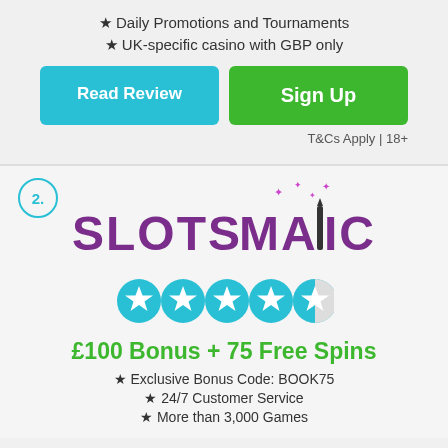★ Daily Promotions and Tournaments
★ UK-specific casino with GBP only
Read Review
Sign Up
T&Cs Apply | 18+
2.
[Figure (logo): Slots Magic casino logo with purple text and magic wand with stars]
[Figure (other): 4.5 star rating shown as cyan/teal filled stars]
£100 Bonus + 75 Free Spins
★ Exclusive Bonus Code: BOOK75
★ 24/7 Customer Service
★ More than 3,000 Games